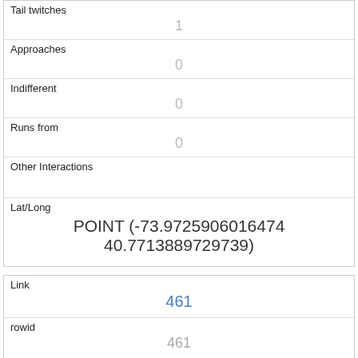| Tail twitches | 1 |
| Approaches | 0 |
| Indifferent | 0 |
| Runs from | 0 |
| Other Interactions |  |
| Lat/Long | POINT (-73.9725906016474 40.7713889729739) |
| Link | 461 |
| rowid | 461 |
| longitude | -73.96481954331921 |
| latitude |  |